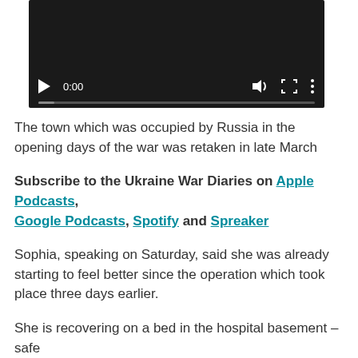[Figure (screenshot): Video player with dark background showing controls: play button, time 0:00, sound icon, fullscreen icon, more options icon, and a progress bar at the bottom.]
The town which was occupied by Russia in the opening days of the war was retaken in late March
Subscribe to the Ukraine War Diaries on Apple Podcasts, Google Podcasts, Spotify and Spreaker
Sophia, speaking on Saturday, said she was already starting to feel better since the operation which took place three days earlier.
She is recovering on a bed in the hospital basement – safe